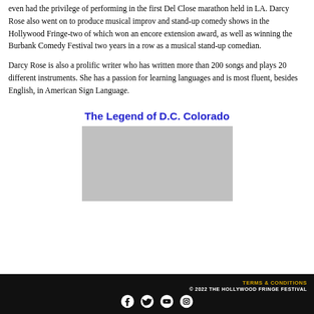even had the privilege of performing in the first Del Close marathon held in LA. Darcy Rose also went on to produce musical improv and stand-up comedy shows in the Hollywood Fringe-two of which won an encore extension award, as well as winning the Burbank Comedy Festival two years in a row as a musical stand-up comedian.
Darcy Rose is also a prolific writer who has written more than 200 songs and plays 20 different instruments. She has a passion for learning languages and is most fluent, besides English, in American Sign Language.
The Legend of D.C. Colorado
[Figure (photo): Gray placeholder image rectangle]
TERMS & CONDITIONS © 2022 THE HOLLYWOOD FRINGE FESTIVAL